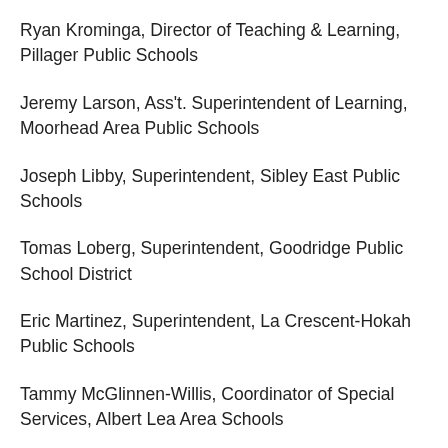Ryan Krominga, Director of Teaching & Learning, Pillager Public Schools
Jeremy Larson, Ass't. Superintendent of Learning, Moorhead Area Public Schools
Joseph Libby, Superintendent, Sibley East Public Schools
Tomas Loberg, Superintendent, Goodridge Public School District
Eric Martinez, Superintendent, La Crescent-Hokah Public Schools
Tammy McGlinnen-Willis, Coordinator of Special Services, Albert Lea Area Schools